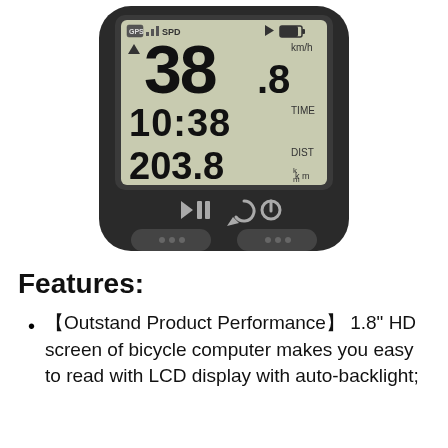[Figure (photo): Bicycle GPS computer/speedometer device showing LCD screen with speed 38.8 km/h, time 10:38, distance 203.8 km, GPS signal, and control buttons at the bottom]
Features:
【Outstand Product Performance】 1.8" HD screen of bicycle computer makes you easy to read with LCD display with auto-backlight;